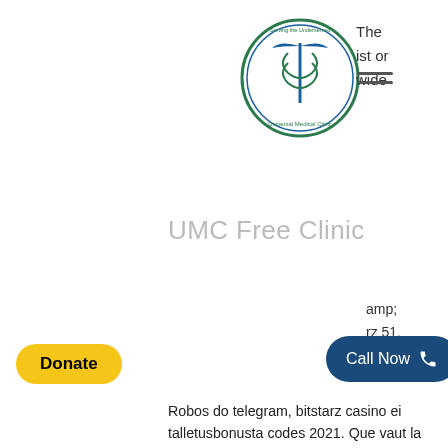[Figure (logo): Universal Medical Clinic circular logo with medical caduceus symbol]
[Figure (other): Hamburger menu icon (two horizontal lines)]
The ist or wide
UMC Free Clinic
amp; rz 51. ago.
Donate
Call Now
Robos do telegram, bitstarz casino ei talletusbonusta codes 2021. Que vaut la version mobile de bitstarz ? Deposit at bitstarz with neosurf, bitcoin and other crypto currencies. Play 100's of the best pokies online or on mobile at bitztarz casino. Gamers of the bitstars club have a choice – play on a desktop computer or use a tablet or smartphone. Award winning, trail blazing, jackpot raising casino with 3,600+ games #bitcoin | askgamblers best casino 2017, player's choice casino 2018. There is no app